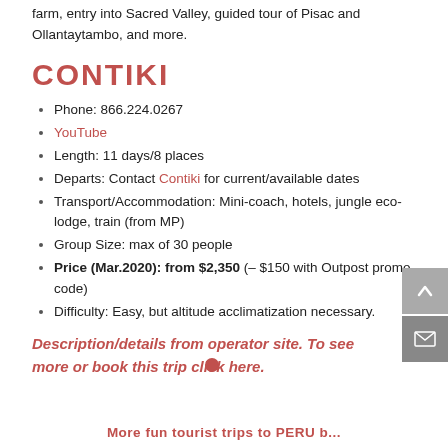farm, entry into Sacred Valley, guided tour of Pisac and Ollantaytambo, and more.
CONTIKI
Phone: 866.224.0267
YouTube
Length: 11 days/8 places
Departs: Contact Contiki for current/available dates
Transport/Accommodation: Mini-coach, hotels, jungle eco-lodge, train (from MP)
Group Size: max of 30 people
Price (Mar.2020): from $2,350 (– $150 with Outpost promo code)
Difficulty: Easy, but altitude acclimatization necessary.
Description/details from operator site. To see more or book this trip click here.
More fun tourist trips to PERU b...